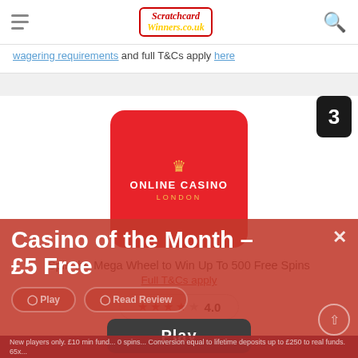ScratchcardWinners.co.uk navigation header with hamburger menu and search icon
wagering requirements and full T&Cs apply here
[Figure (logo): Online Casino London logo — red rounded square with crown icon and ONLINE CASINO LONDON text in white and gold]
Spin the Mega Wheel to Win Up To 500 Free Spins
Full T&Cs apply
4.0 stars rating
18+ BeGambleAware
Casino of the Month – £5 Free
Play  Read Review
Play
New players only. £10 min fund... 0 spins... Conversion equal to lifetime deposits up to £250 to real funds. 65x...